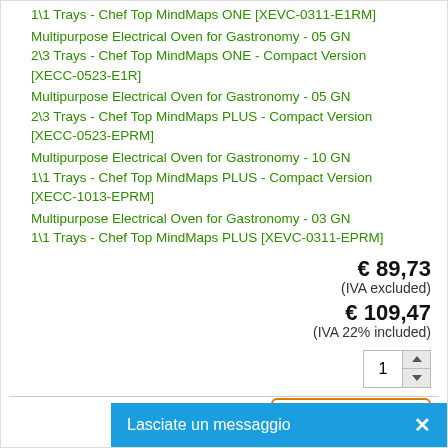1\1 Trays - Chef Top MindMaps ONE [XEVC-0311-E1RM]
Multipurpose Electrical Oven for Gastronomy - 05 GN 2\3 Trays - Chef Top MindMaps ONE - Compact Version [XECC-0523-E1R]
Multipurpose Electrical Oven for Gastronomy - 05 GN 2\3 Trays - Chef Top MindMaps PLUS - Compact Version [XECC-0523-EPRM]
Multipurpose Electrical Oven for Gastronomy - 10 GN 1\1 Trays - Chef Top MindMaps PLUS - Compact Version [XECC-1013-EPRM]
Multipurpose Electrical Oven for Gastronomy - 03 GN 1\1 Trays - Chef Top MindMaps PLUS [XEVC-0311-EPRM]
€ 89,73 (IVA excluded)
€ 109,47 (IVA 22% included)
1
Add to cart
Lasciate un messaggio